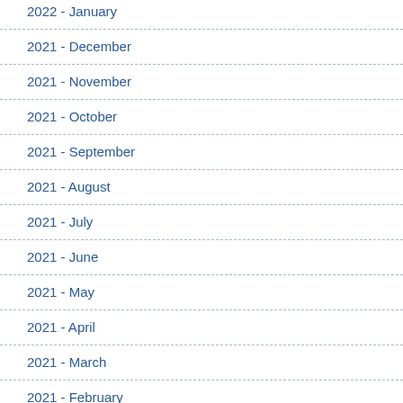2022 - January
2021 - December
2021 - November
2021 - October
2021 - September
2021 - August
2021 - July
2021 - June
2021 - May
2021 - April
2021 - March
2021 - February
2021 - January
2020 - December
2020 - November